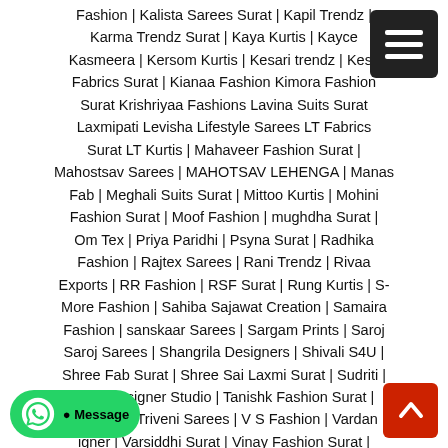Fashion | Kalista Sarees Surat | Kapil Trendz | Karma Trendz Surat | Kaya Kurtis | Kayce Kasmeera | Kersom Kurtis | Kesari trendz | Kess Fabrics Surat | Kianaa Fashion Kimora Fashion Surat Krishriyaa Fashions Lavina Suits Surat Laxmipati Levisha Lifestyle Sarees LT Fabrics Surat LT Kurtis | Mahaveer Fashion Surat | Mahostsav Sarees | MAHOTSAV LEHENGA | Manas Fab | Meghali Suits Surat | Mittoo Kurtis | Mohini Fashion Surat | Moof Fashion | mughdha Surat | Om Tex | Priya Paridhi | Psyna Surat | Radhika Fashion | Rajtex Sarees | Rani Trendz | Rivaa Exports | RR Fashion | RSF Surat | Rung Kurtis | S-More Fashion | Sahiba Sajawat Creation | Samaira Fashion | sanskaar Sarees | Sargam Prints | Saroj Saroj Sarees | Shangrila Designers | Shivali S4U | Shree Fab Surat | Shree Sai Laxmi Surat | Sudriti | T&M Designer Studio | Tanishk Fashion Surat | Tathastu | Triveni Sarees | V S Fashion | Vardan igner | Varsiddhi Surat | Vinay Fashion Surat | Vipul Fashion Surat | Vishal Prints Volono Trendz
[Figure (other): Hamburger menu icon button, dark background top-right corner]
[Figure (other): WhatsApp message button, green rounded pill, bottom-left]
[Figure (other): Scroll to top button, red square with up arrow, bottom-right]